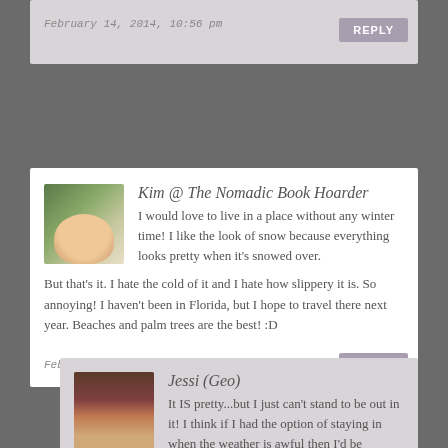February 14, 2014, 10:56 pm
REPLY
Kim @ The Nomadic Book Hoarder
I would love to live in a place without any winter time! I like the look of snow because everything looks pretty when it's snowed over. But that's it. I hate the cold of it and I hate how slippery it is. So annoying! I haven't been in Florida, but I hope to travel there next year. Beaches and palm trees are the best! :D
February 6, 2014, 3:39 pm
REPLY
Jessi (Geo)
It IS pretty...but I just can't stand to be out in it! I think if I had the option of staying in when the weather is awful then I'd be perfectly fine with it. But I really miss the sunshine :(